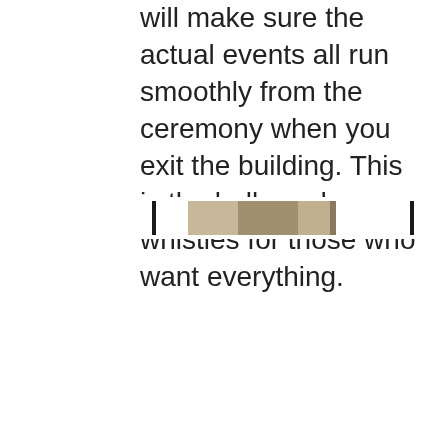will make sure the actual events all run smoothly from the ceremony when you exit the building. This is the bells and whistles for those who want everything.
[Figure (other): A decorative horizontal bar or divider element with vertical black lines at the ends and a beige/tan central banded section, resembling a ribbon or bookmark graphic.]